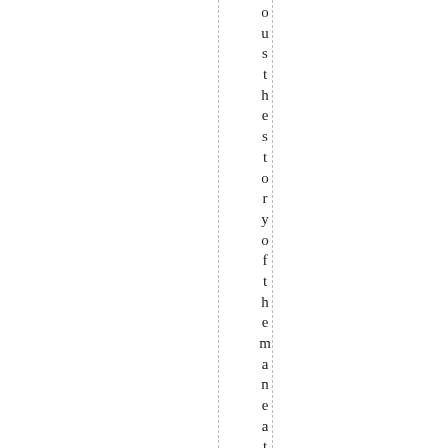oustthestoryofthemaneatersoft sa